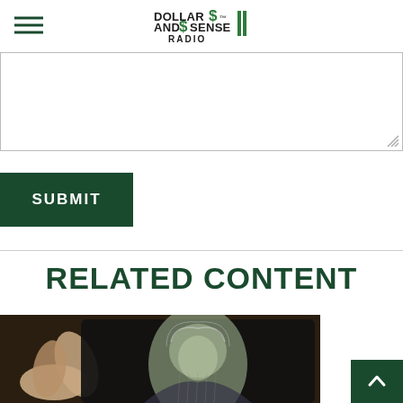Dollar $ and Sense Radio
[Figure (screenshot): Textarea input box with resize handle in bottom-right corner]
[Figure (screenshot): Dark green SUBMIT button]
RELATED CONTENT
[Figure (photo): Hand touching a tablet screen showing a portrait of Benjamin Franklin on US currency]